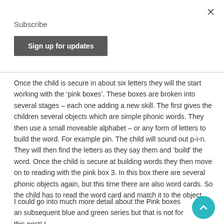×
Subscribe
Sign up for updates
Once the child is secure in about six letters they will the start working with the 'pink boxes'. These boxes are broken into several stages – each one adding a new skill. The first gives the children several objects which are simple phonic words. They then use a small moveable alphabet – or any form of letters to build the word. For example pin. The child will sound out p-i-n. They will then find the letters as they say them and 'build' the word. Once the child is secure at building words they then move on to reading with the pink box 3. In this box there are several phonic objects again, but this time there are also word cards. So the child has to read the word card and match it to the object.
I could go into much more detail about the Pink boxes and subsequent blue and green series but that is not for this post! I